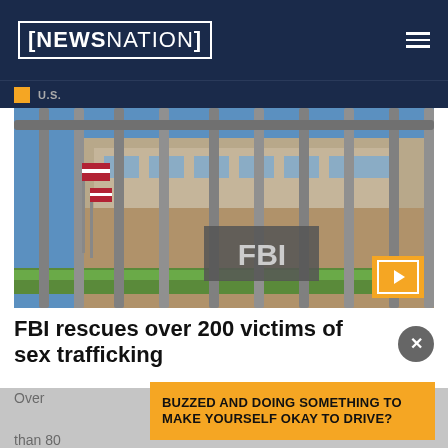NEWSNATION
U.S.
[Figure (photo): FBI building exterior seen through metal security bars/fence, with American flags visible and FBI sign in foreground]
FBI rescues over 200 victims of sex trafficking
Over ... than 80 ch... of Operation Cross Country.
BUZZED AND DOING SOMETHING TO MAKE YOURSELF OKAY TO DRIVE?